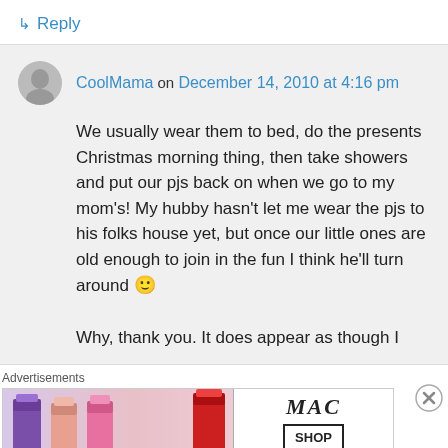↳ Reply
CoolMama on December 14, 2010 at 4:16 pm
We usually wear them to bed, do the presents Christmas morning thing, then take showers and put our pjs back on when we go to my mom's! My hubby hasn't let me wear the pjs to his folks house yet, but once our little ones are old enough to join in the fun I think he'll turn around 🙂
Why, thank you. It does appear as though I
Advertisements
[Figure (photo): MAC Cosmetics advertisement showing lipsticks and SHOP NOW button]